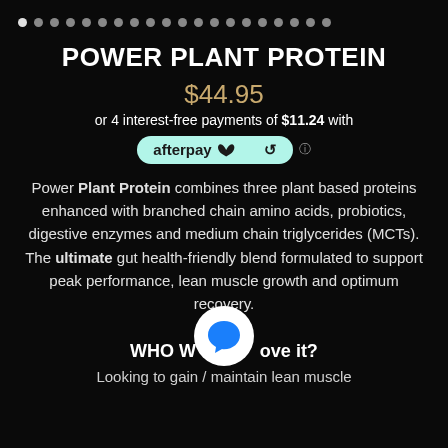[Figure (other): Carousel dot indicators — one white active dot followed by many grey dots]
POWER PLANT PROTEIN
$44.95
or 4 interest-free payments of $11.24 with
[Figure (logo): Afterpay badge/logo in mint green rounded pill]
Power Plant Protein combines three plant based proteins enhanced with branched chain amino acids, probiotics, digestive enzymes and medium chain triglycerides (MCTs). The ultimate gut health-friendly blend formulated to support peak performance, lean muscle growth and optimum recovery.
[Figure (illustration): White circle with blue chat bubble icon overlapping the WHO WOULD LOVE IT? text]
WHO WOULD LOVE IT?
Looking to gain / maintain lean muscle